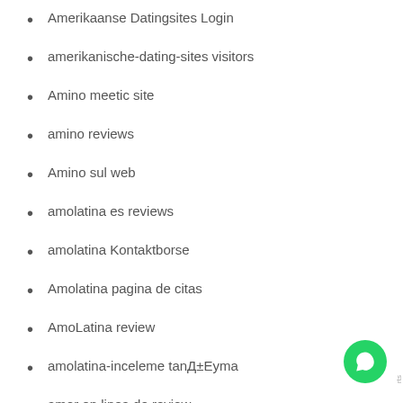Amerikaanse Datingsites Login
amerikanische-dating-sites visitors
Amino meetic site
amino reviews
Amino sul web
amolatina es reviews
amolatina Kontaktborse
Amolatina pagina de citas
AmoLatina review
amolatina-inceleme tanД±Еyma
amor en linea de review
Amor en Linea precios
Amor en Linea Profil